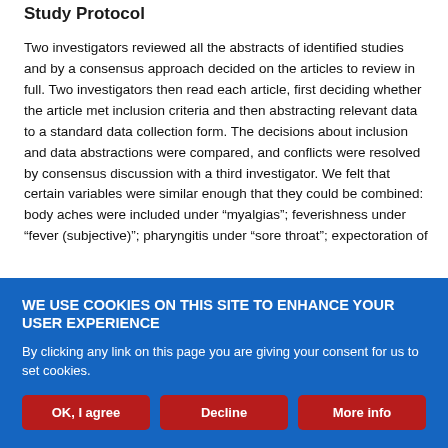Study Protocol
Two investigators reviewed all the abstracts of identified studies and by a consensus approach decided on the articles to review in full. Two investigators then read each article, first deciding whether the article met inclusion criteria and then abstracting relevant data to a standard data collection form. The decisions about inclusion and data abstractions were compared, and conflicts were resolved by consensus discussion with a third investigator. We felt that certain variables were similar enough that they could be combined: body aches were included under “myalgias”; feverishness under “fever (subjective)”; pharyngitis under “sore throat”; expectoration of
WE USE COOKIES ON THIS SITE TO ENHANCE YOUR USER EXPERIENCE
By clicking any link on this page you are giving your consent for us to set cookies.
OK, I agree | Decline | More info